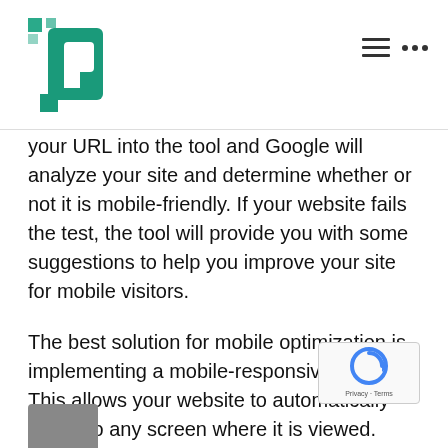Logo and navigation header
your URL into the tool and Google will analyze your site and determine whether or not it is mobile-friendly. If your website fails the test, the tool will provide you with some suggestions to help you improve your site for mobile visitors.
The best solution for mobile optimization is implementing a mobile-responsive theme. This allows your website to automatically adjust to any screen where it is viewed. WordPress offers hundreds of responsive themes that you can use for your website, many of which are free. You can some high-performing themes here.